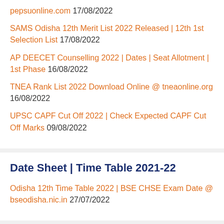pepsuonline.com 17/08/2022
SAMS Odisha 12th Merit List 2022 Released | 12th 1st Selection List 17/08/2022
AP DEECET Counselling 2022 | Dates | Seat Allotment | 1st Phase 16/08/2022
TNEA Rank List 2022 Download Online @ tneaonline.org 16/08/2022
UPSC CAPF Cut Off 2022 | Check Expected CAPF Cut Off Marks 09/08/2022
Date Sheet | Time Table 2021-22
Odisha 12th Time Table 2022 | BSE CHSE Exam Date @ bseodisha.nic.in 27/07/2022